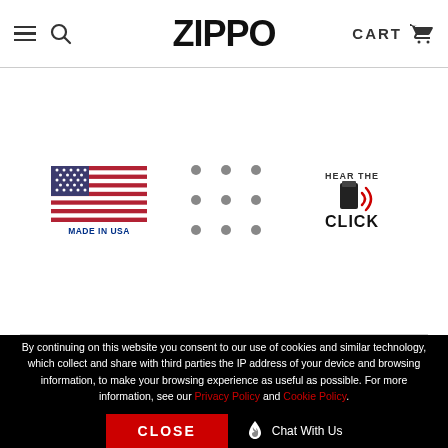ZIPPO | CART
[Figure (logo): Made in USA flag badge with American flag and 'MADE IN USA' text in blue]
[Figure (other): 3x3 grid of grey dots]
[Figure (logo): Hear the Click badge with zippo lighter icon and sound waves, text reading HEAR THE CLICK]
By continuing on this website you consent to our use of cookies and similar technology, which collect and share with third parties the IP address of your device and browsing information, to make your browsing experience as useful as possible. For more information, see our Privacy Policy and Cookie Policy.
CLOSE | Chat With Us